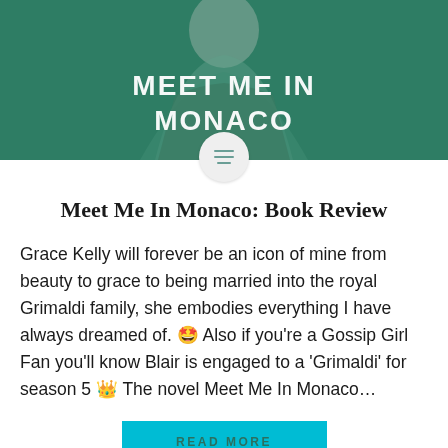[Figure (photo): Book cover image for 'Meet Me In Monaco' with teal/green background and a person in a green dress, with a circular avatar icon overlaid at the bottom center]
Meet Me In Monaco: Book Review
Grace Kelly will forever be an icon of mine from beauty to grace to being married into the royal Grimaldi family, she embodies everything I have always dreamed of. 🤩 Also if you're a Gossip Girl Fan you'll know Blair is engaged to a 'Grimaldi' for season 5 👑 The novel Meet Me In Monaco...
READ MORE